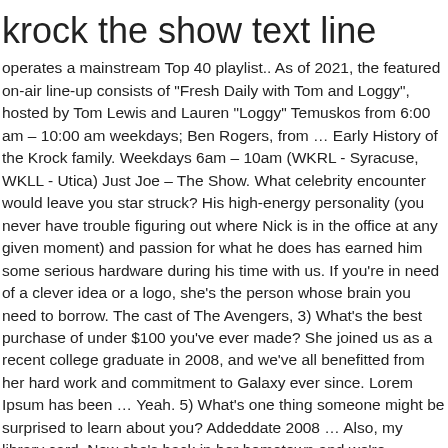krock the show text line
operates a mainstream Top 40 playlist.. As of 2021, the featured on-air line-up consists of "Fresh Daily with Tom and Loggy", hosted by Tom Lewis and Lauren "Loggy" Temuskos from 6:00 am – 10:00 am weekdays; Ben Rogers, from … Early History of the Krock family. Weekdays 6am – 10am (WKRL - Syracuse, WKLL - Utica) Just Joe – The Show. What celebrity encounter would leave you star struck? His high-energy personality (you never have trouble figuring out where Nick is in the office at any given moment) and passion for what he does has earned him some serious hardware during his time with us. If you're in need of a clever idea or a logo, she's the person whose brain you need to borrow. The cast of The Avengers, 3) What's the best purchase of under $100 you've ever made? She joined us as a recent college graduate in 2008, and we've all benefitted from her hard work and commitment to Galaxy ever since. Lorem Ipsum has been … Yeah. 5) What's one thing someone might be surprised to learn about you? Addeddate 2008 … Also, my library card. Now she's back in her hometown and we're certainly glad to have her. Other than cooking… I can make an abnormally loud and fast bubble gum pop. What celebrity encounter would leave you star struck? What's one thing someone